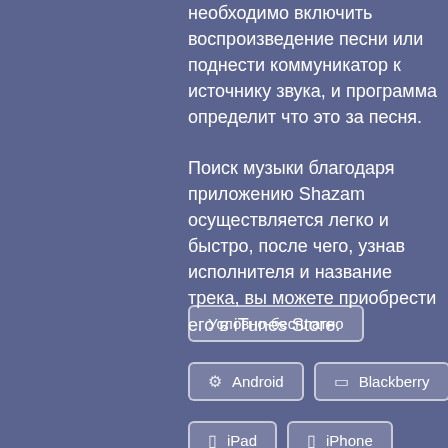необходимо включить воспроизведение песни или поднести коммуникатор к источнику звука, и программа определит что это за песня.
Поиск музыки благодаря приложению Shazam осуществляется легко и быстро, после чего, узнав исполнителя и название трека, вы можете приобрести его в iTunes Store.
Условно-бесплатно
Android
Blackberry
iPad
iPhone
Symbian S60